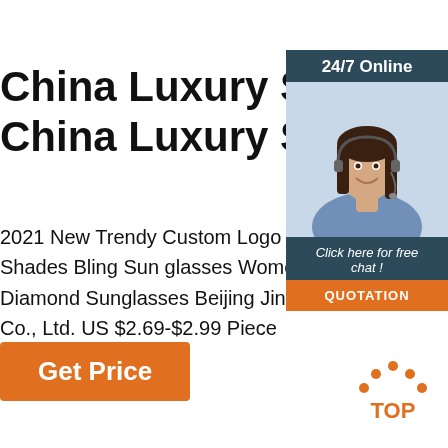China Luxury Sunglasses China Luxury Sunglasses
2021 New Trendy Custom Logo Fashion D Shades Bling Sun glasses Women Rhines Diamond Sunglasses Beijing Jinshitongm Co., Ltd. US $2.69-$2.99 Piece
Get Price
[Figure (photo): Customer service agent widget with '24/7 Online' header, photo of a woman with headset, 'Click here for free chat!' text, and orange QUOTATION button]
[Figure (logo): TOP logo with orange dots arranged in arc above orange text 'TOP']